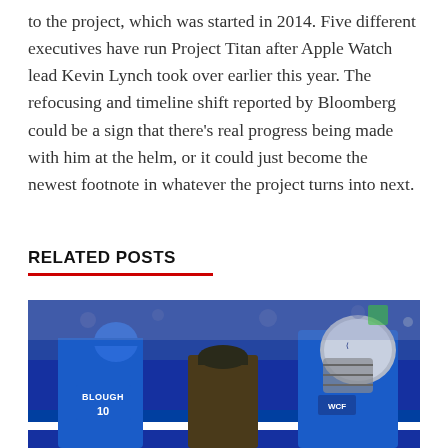to the project, which was started in 2014. Five different executives have run Project Titan after Apple Watch lead Kevin Lynch took over earlier this year. The refocusing and timeline shift reported by Bloomberg could be a sign that there's real progress being made with him at the helm, or it could just become the newest footnote in whatever the project turns into next.
RELATED POSTS
[Figure (photo): NFL football players in blue Detroit Lions uniforms on the field. Player with 'BLOUGH 10' jersey visible on the left, another player in blue Lions helmet on the right, and a coach or player in a cap in the middle background.]